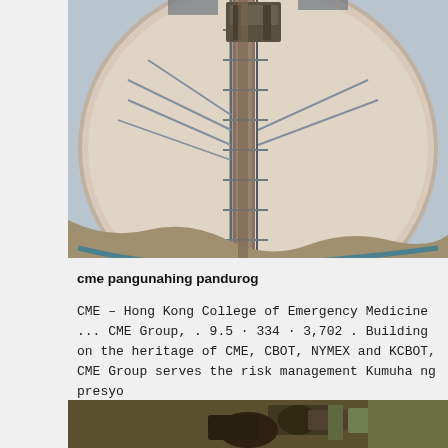[Figure (photo): Aerial view of a large circular industrial settling tank or clarifier with a central walkway/bridge structure running across it, surrounded by earthen ground.]
cme pangunahing pandurog
CME – Hong Kong College of Emergency Medicine ... CME Group, . 9.5 · 334 · 3,702 . Building on the heritage of CME, CBOT, NYMEX and KCBOT, CME Group serves the risk management Kumuha ng presyo
[Figure (photo): Partial view of industrial machinery or equipment at the bottom of the page, partially cut off.]